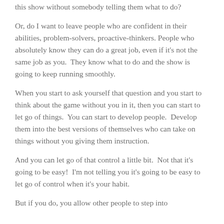this show without somebody telling them what to do?
Or, do I want to leave people who are confident in their abilities, problem-solvers, proactive-thinkers. People who absolutely know they can do a great job, even if it's not the same job as you.  They know what to do and the show is going to keep running smoothly.
When you start to ask yourself that question and you start to think about the game without you in it, then you can start to let go of things.  You can start to develop people.  Develop them into the best versions of themselves who can take on things without you giving them instruction.
And you can let go of that control a little bit.  Not that it's going to be easy!  I'm not telling you it's going to be easy to let go of control when it's your habit.
But if you do, you allow other people to step into